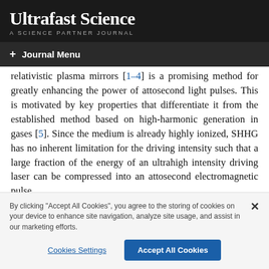Ultrafast Science
A SCIENCE PARTNER JOURNAL
+ Journal Menu
relativistic plasma mirrors [1–4] is a promising method for greatly enhancing the power of attosecond light pulses. This is motivated by key properties that differentiate it from the established method based on high-harmonic generation in gases [5]. Since the medium is already highly ionized, SHHG has no inherent limitation for the driving intensity such that a large fraction of the energy of an ultrahigh intensity driving laser can be compressed into an attosecond electromagnetic pulse.
By clicking "Accept All Cookies", you agree to the storing of cookies on your device to enhance site navigation, analyze site usage, and assist in our marketing efforts.
Cookies Settings | Accept All Cookies